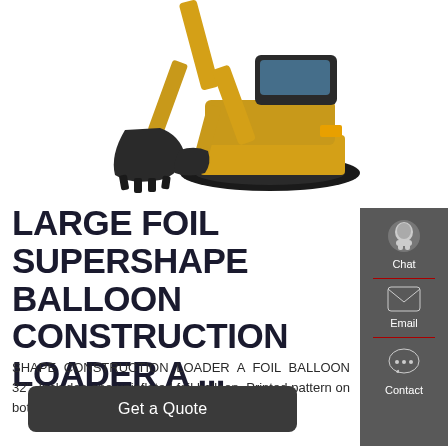[Figure (photo): Two yellow construction excavators / loaders on white background — one showing the bucket attachment close-up and one showing the full machine side view]
LARGE FOIL SUPERSHAPE BALLOON CONSTRUCTION LOADER A ...
SHAPE CONSTRUCTION LOADER A FOIL BALLOON 32". Includes one uninflated foil balloon. Printed pattern on both the sides of the foil. Foil can be re-inflated.
[Figure (infographic): Right sidebar with three icons: Chat (headset icon), Email (envelope icon), Contact (speech bubble icon), separated by red dividers]